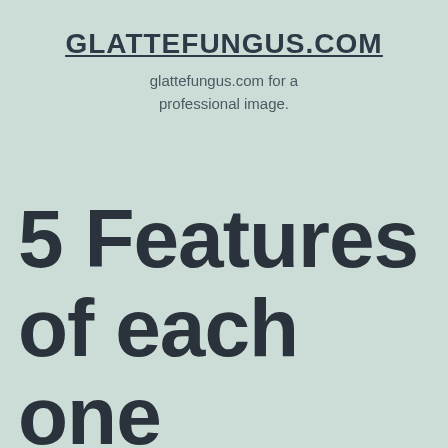GLATTEFUNGUS.COM
glattefungus.com for a professional image.
5 Features of each one Productive Massage